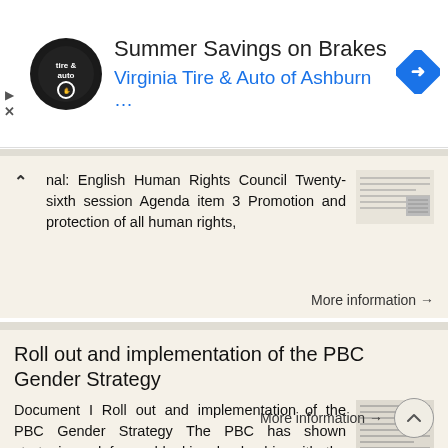[Figure (screenshot): Advertisement banner for Summer Savings on Brakes from Virginia Tire and Auto of Ashburn]
nal: English Human Rights Council Twenty-sixth session Agenda item 3 Promotion and protection of all human rights,
More information →
Roll out and implementation of the PBC Gender Strategy
Document I Roll out and implementation of the PBC Gender Strategy The PBC has shown strategic and forward-looking leadership with the development of the PBC Gender Strategy, building on the momentum of
More information →